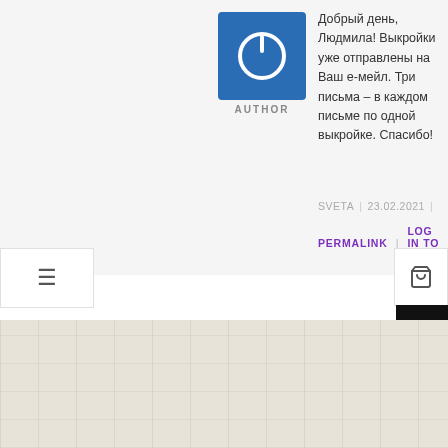[Figure (logo): Author avatar: blue square with white power button icon, labeled AUTHOR below]
Добрый день, Людмила! Выкройки уже отправлены на Ваш е-мейл. Три письма – в каждом письме по одной выкройке. Спасибо!
SVETA | 23.02.2021 |
PERMALINK | LOG IN TO REPLY
LEAVE A REPLY
You must be logged in to post a comment.